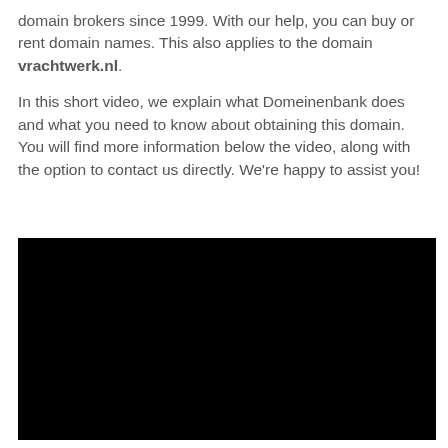domain brokers since 1999. With our help, you can buy or rent domain names. This also applies to the domain vrachtwerk.nl.

In this short video, we explain what Domeinenbank does and what you need to know about obtaining this domain. You will find more information below the video, along with the option to contact us directly. We're happy to assist you!
[Figure (other): A black video player rectangle with no visible controls or content, representing an embedded video.]